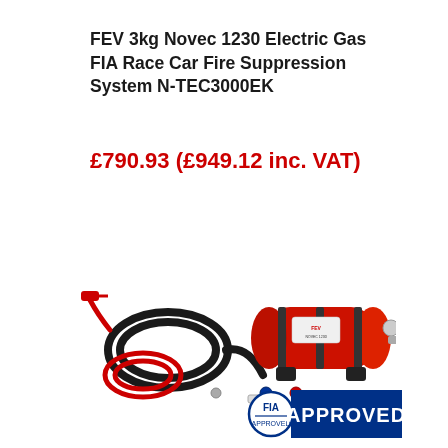FEV 3kg Novec 1230 Electric Gas FIA Race Car Fire Suppression System N-TEC3000EK
£790.93 (£949.12 inc. VAT)
[Figure (photo): FEV 3kg Novec 1230 Electric Gas FIA Race Car Fire Suppression System N-TEC3000EK product photo showing a red cylindrical fire suppression canister with mounting brackets, black tubing/hoses, a red pull trigger mechanism, and various fittings and connectors including blue and red AN fittings.]
[Figure (logo): FIA APPROVED badge: circular FIA logo in blue and white next to a blue rectangular banner reading APPROVED in white text.]